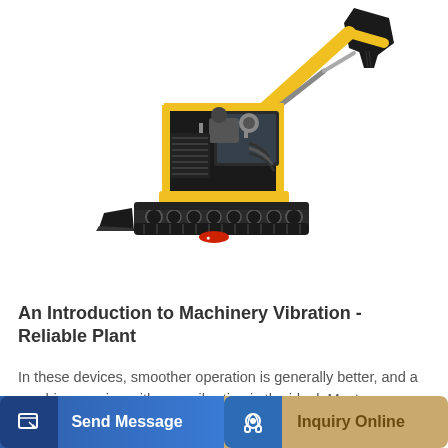[Figure (photo): A small yellow and black mini excavator with crawler tracks and an extended arm with bucket attachment, shown on a white background.]
An Introduction to Machinery Vibration - Reliable Plant
In these devices, smoother operation is generally better, and a machine running with zero vibration is the ideal. Most common causes of machine vibration Vibration can result…
Send Message
Inquiry Online